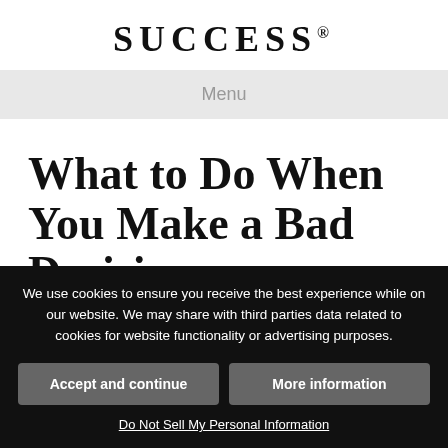SUCCESS®
Menu
What to Do When You Make a Bad Decision
By Jamie Friedlander | May 22, 2019 |
We use cookies to ensure you receive the best experience while on our website. We may share with third parties data related to cookies for website functionality or advertising purposes.
Accept and continue
More information
Do Not Sell My Personal Information